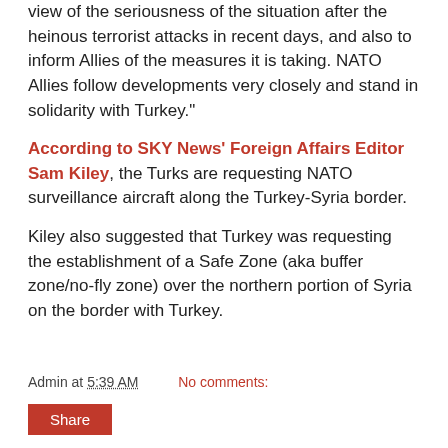view of the seriousness of the situation after the heinous terrorist attacks in recent days, and also to inform Allies of the measures it is taking. NATO Allies follow developments very closely and stand in solidarity with Turkey."
According to SKY News' Foreign Affairs Editor Sam Kiley, the Turks are requesting NATO surveillance aircraft along the Turkey-Syria border.
Kiley also suggested that Turkey was requesting the establishment of a Safe Zone (aka buffer zone/no-fly zone) over the northern portion of Syria on the border with Turkey.
Admin at 5:39 AM   No comments:
Share
Friday, July 24, 2015
Recent Turkey-Syria Border Clashes A Bad